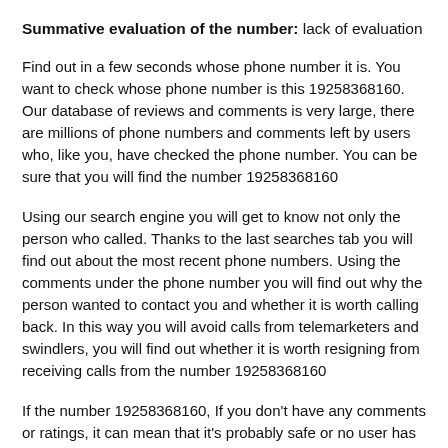Summative evaluation of the number: lack of evaluation
Find out in a few seconds whose phone number it is. You want to check whose phone number is this 19258368160. Our database of reviews and comments is very large, there are millions of phone numbers and comments left by users who, like you, have checked the phone number. You can be sure that you will find the number 19258368160
Using our search engine you will get to know not only the person who called. Thanks to the last searches tab you will find out about the most recent phone numbers. Using the comments under the phone number you will find out why the person wanted to contact you and whether it is worth calling back. In this way you will avoid calls from telemarketers and swindlers, you will find out whether it is worth resigning from receiving calls from the number 19258368160
If the number 19258368160, If you don't have any comments or ratings, it can mean that it's probably safe or no user has added it as a harassing call yet. Of course, there is no 100% certainty that it is not a telemarker or a sales representative. If it turns out that